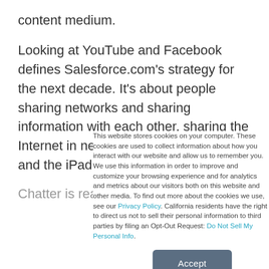content medium.
Looking at YouTube and Facebook defines Salesforce.com's strategy for the next decade. It's about people sharing networks and sharing information with each other, sharing the Internet in new ways like the iPhone and the iPad.
Chatter is really the epitomization of that. It's not something
This website stores cookies on your computer. These cookies are used to collect information about how you interact with our website and allow us to remember you. We use this information in order to improve and customize your browsing experience and for analytics and metrics about our visitors both on this website and other media. To find out more about the cookies we use, see our Privacy Policy. California residents have the right to direct us not to sell their personal information to third parties by filing an Opt-Out Request: Do Not Sell My Personal Info.
Accept